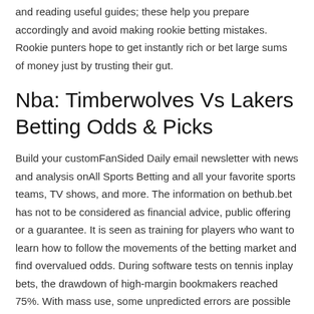and reading useful guides; these help you prepare accordingly and avoid making rookie betting mistakes. Rookie punters hope to get instantly rich or bet large sums of money just by trusting their gut.
Nba: Timberwolves Vs Lakers Betting Odds & Picks
Build your customFanSided Daily email newsletter with news and analysis onAll Sports Betting and all your favorite sports teams, TV shows, and more. The information on bethub.bet has not to be considered as financial advice, public offering or a guarantee. It is seen as training for players who want to learn how to follow the movements of the betting market and find overvalued odds. During software tests on tennis inplay bets, the drawdown of high-margin bookmakers reached 75%. With mass use, some unpredicted errors are possible both on our side and on punters.